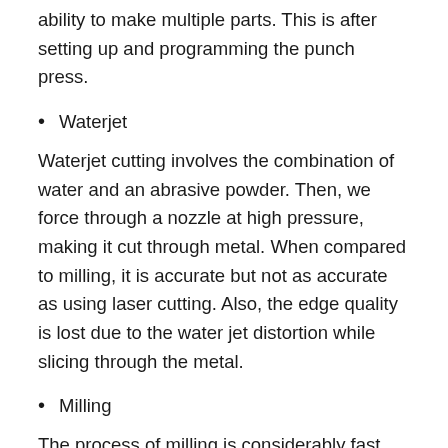ability to make multiple parts. This is after setting up and programming the punch press.
Waterjet
Waterjet cutting involves the combination of water and an abrasive powder. Then, we force through a nozzle at high pressure, making it cut through metal. When compared to milling, it is accurate but not as accurate as using laser cutting. Also, the edge quality is lost due to the water jet distortion while slicing through the metal.
Milling
The process of milling is considerably fast with an accuracy of 0.0003 inches. End mills can create high-quality edges and also work with 3D media when compared to laser cutting. However, it takes time to